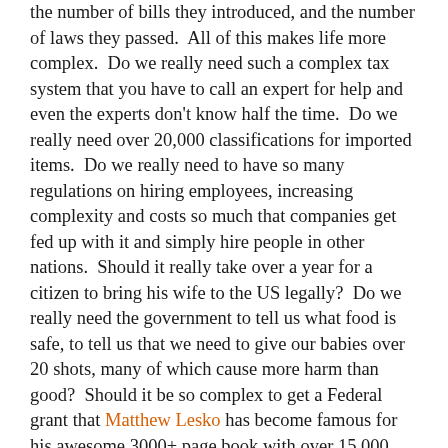the number of bills they introduced, and the number of laws they passed.  All of this makes life more complex.  Do we really need such a complex tax system that you have to call an expert for help and even the experts don't know half the time.  Do we really need over 20,000 classifications for imported items.  Do we really need to have so many regulations on hiring employees, increasing complexity and costs so much that companies get fed up with it and simply hire people in other nations.  Should it really take over a year for a citizen to bring his wife to the US legally?  Do we really need the government to tell us what food is safe, to tell us that we need to give our babies over 20 shots, many of which cause more harm than good?  Should it be so complex to get a Federal grant that Matthew Lesko has become famous for his awesome 3000+ page book with over 15,000 DIFFERENT programs listed (BTW read his blog).  Do we really need a government with 1000's of different divisions?